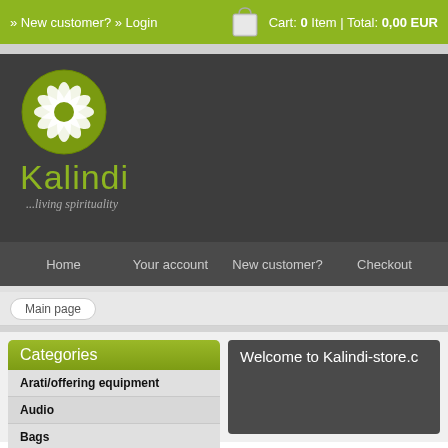» New customer? » Login   Cart: 0 Item | Total: 0,00 EUR
[Figure (logo): Kalindi store logo: green circle with white lotus flower, brand name Kalindi in green, tagline ...living spirituality in italic]
Home   Your account   New customer?   Checkout
Main page
Categories
Arati/offering equipment
Audio
Bags
Welcome to Kalindi-store.c